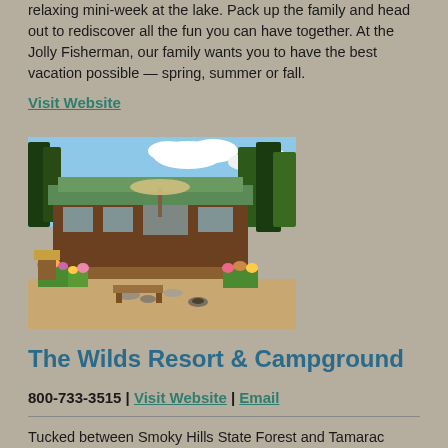relaxing mini-week at the lake. Pack up the family and head out to rediscover all the fun you can have together. At the Jolly Fisherman, our family wants you to have the best vacation possible — spring, summer or fall.
Visit Website
[Figure (photo): Exterior photo of a rustic lodge/resort building with green metal roof, surrounded by trees, gardens with flowers, outdoor seating area, and sandy ground. Blue sky with clouds in background.]
The Wilds Resort & Campground
800-733-3515 | Visit Website | Email
Tucked between Smoky Hills State Forest and Tamarac Wildlife Refuge in Northern Minnesota, The Wilds Resort and Campground